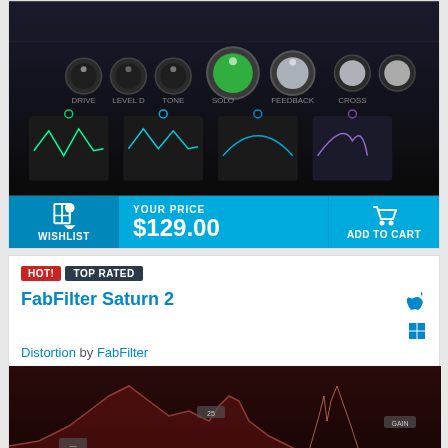[Figure (screenshot): Dark-themed audio plugin UI with knobs, sliders, and waveform displays on black background]
WISHLIST
YOUR PRICE $129.00
ADD TO CART
HOT! TOP RATED
FabFilter Saturn 2
Distortion by FabFilter
[Figure (screenshot): FabFilter Saturn 2 plugin interface with dark red background, waveform analyzer, and red-rimmed knobs]